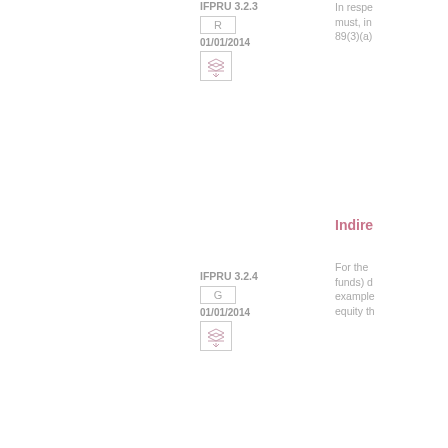IFPRU 3.2.3
R
01/01/2014
In respe must, in 89(3)(a)
Indire
IFPRU 3.2.4
G
01/01/2014
For the funds) d example equity th
IFPRU 3.2.5
G
01/01/2014
An indir the capi (1) a (2) a that sa